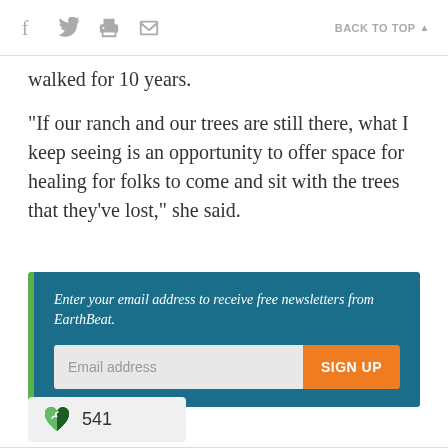f  (twitter)  (print)  (email)   BACK TO TOP ▲
walked for 10 years.
"If our ranch and our trees are still there, what I keep seeing is an opportunity to offer space for healing for folks to come and sit with the trees that they've lost," she said.
[Figure (infographic): Newsletter signup box with teal background and green left border. Text reads: Enter your email address to receive free newsletters from EarthBeat. Contains an email input field and an orange SIGN UP button.]
541